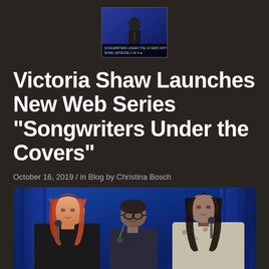[Figure (photo): Small video thumbnail showing a person on stage with blue background, with text overlay reading what appears to be a show/series title]
Victoria Shaw Launches New Web Series “Songwriters Under the Covers”
October 16, 2019 / in Blog by Christina Bosch
[Figure (photo): Photo of performers on stage with blue curtain background. A woman with long red hair on the left, a man with glasses in the center, and a woman with dark hair on the right, all at microphones.]